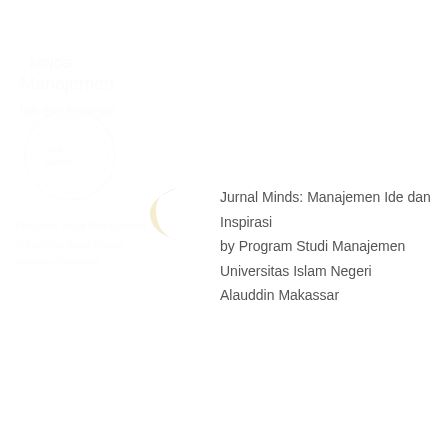[Figure (logo): Faint watermark-style logo with Arabic text and circular emblem in the top-left area, and a crescent moon symbol]
Jurnal Minds: Manajemen Ide dan Inspirasi
by Program Studi Manajemen Universitas Islam Negeri
Alauddin Makassar